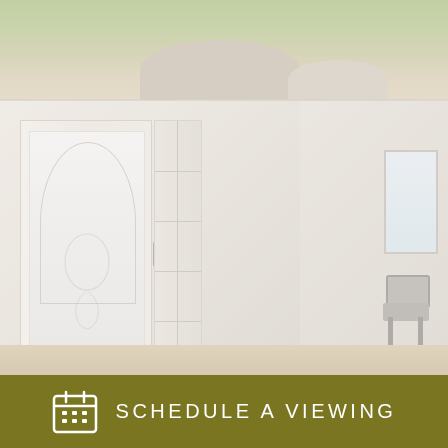[Figure (photo): Composite real estate photo: top strip shows outdoor view with grass/lawn and concrete path/pavement; main area shows interior entryway with decorative glass front door with ornate frosted panel and sidelight, and adjacent room showing window and grey chair on light wood floor.]
SCHEDULE A VIEWING